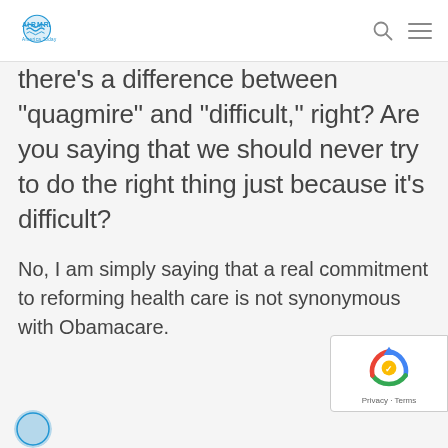AIRMARIA — navigation header with logo, search icon, and menu icon
there's a difference between “quagmire” and “difficult,” right? Are you saying that we should never try to do the right thing just because it’s difficult?
No, I am simply saying that a real commitment to reforming health care is not synonymous with Obamacare.